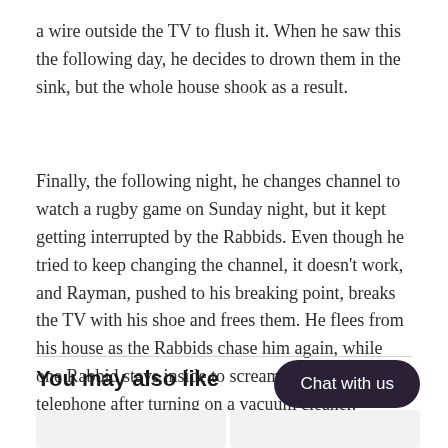a wire outside the TV to flush it. When he saw this the following day, he decides to drown them in the sink, but the whole house shook as a result.
Finally, the following night, he changes channel to watch a rugby game on Sunday night, but it kept getting interrupted by the Rabbids. Even though he tried to keep changing the channel, it doesn’t work, and Rayman, pushed to his breaking point, breaks the TV with his shoe and frees them. He flees from his house as the Rabbids chase him again, while one Rabbid stays inside to scream at the ringing telephone after turning on a vacuum cleaner.
You may also like